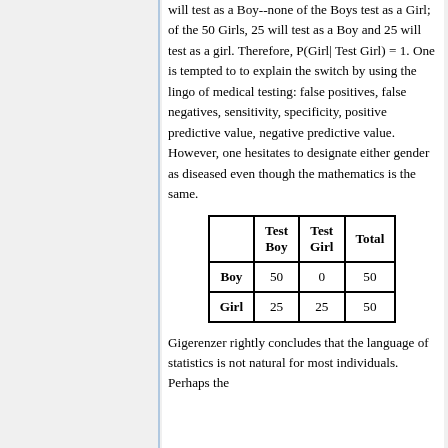will test as a Boy--none of the Boys test as a Girl; of the 50 Girls, 25 will test as a Boy and 25 will test as a girl. Therefore, P(Girl| Test Girl) = 1. One is tempted to to explain the switch by using the lingo of medical testing: false positives, false negatives, sensitivity, specificity, positive predictive value, negative predictive value. However, one hesitates to designate either gender as diseased even though the mathematics is the same.
|  | Test Boy | Test Girl | Total |
| --- | --- | --- | --- |
| Boy | 50 | 0 | 50 |
| Girl | 25 | 25 | 50 |
Gigerenzer rightly concludes that the language of statistics is not natural for most individuals. Perhaps the